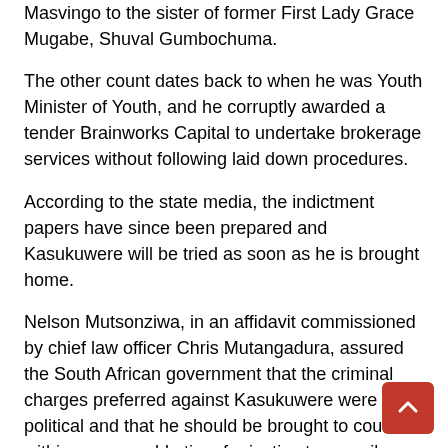Masvingo to the sister of former First Lady Grace Mugabe, Shuval Gumbochuma.
The other count dates back to when he was Youth Minister of Youth, and he corruptly awarded a tender Brainworks Capital to undertake brokerage services without following laid down procedures.
According to the state media, the indictment papers have since been prepared and Kasukuwere will be tried as soon as he is brought home.
Nelson Mutsonziwa, in an affidavit commissioned by chief law officer Chris Mutangadura, assured the South African government that the criminal charges preferred against Kasukuwere were not political and that he should be brought to court within a reasonable time for justice to prevail.
“This request is not being pursued for political reasons or any ulterior purpose. Zimbabwe guarantees that Saviour Kasukuwere will receive a fair trial in terms of the laws of Zimbabwe. The Republic of Zimbabwe also undertakes to render assistance to the Republic of